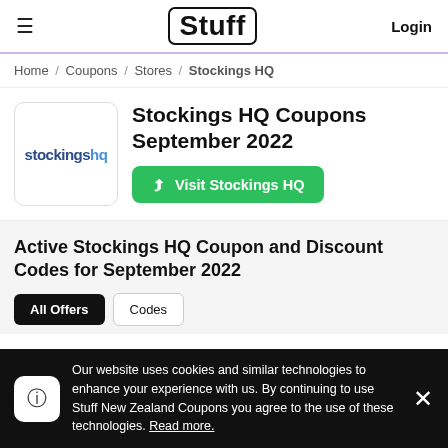≡  Stuff  Login
Home / Coupons / Stores / Stockings HQ
[Figure (logo): stockingshq store logo in blue text on white rounded square background]
Stockings HQ Coupons September 2022
Visit Stockings HQ
Active Stockings HQ Coupon and Discount Codes for September 2022
Our website uses cookies and similar technologies to enhance your experience with us. By continuing to use Stuff New Zealand Coupons you agree to the use of these technologies. Read more.